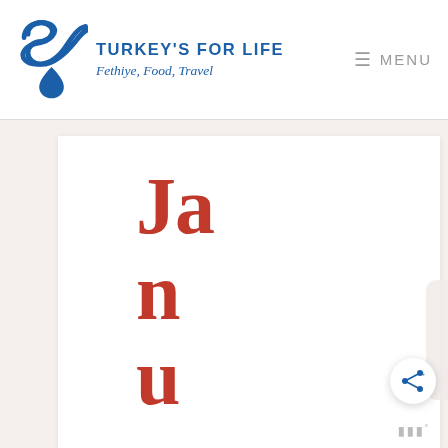Turkey's For Life — Fethiye, Food, Travel
January 2022 – Kickstarting The New Year In Fethiye